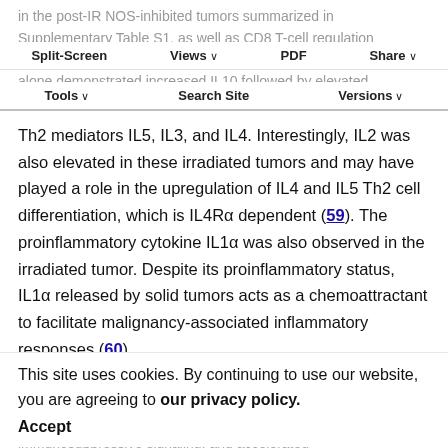in the post-IR NOS-inhibited tumors summarized in Supplementary Table S1, as well as CD8 T-cell regulation shown in Fig. 5. In contrast, tumors receiving irradiation alone demonstrated increased IL10 followed by elevated
Split-Screen | Views | PDF | Share | Tools | Search Site | Versions
Th2 mediators IL5, IL3, and IL4. Interestingly, IL2 was also elevated in these irradiated tumors and may have played a role in the upregulation of IL4 and IL5 Th2 cell differentiation, which is IL4Rα dependent (59). The proinflammatory cytokine IL1α was also observed in the irradiated tumor. Despite its proinflammatory status, IL1α released by solid tumors acts as a chemoattractant to facilitate malignancy-associated inflammatory responses (60).
This site uses cookies. By continuing to use our website, you are agreeing to our privacy policy. Accept
Collectively, these results demonstrate a novel mechanism ... flux NO during Th1–Th2 transition, tumor immunosuppressive signaling, and accelerated ...